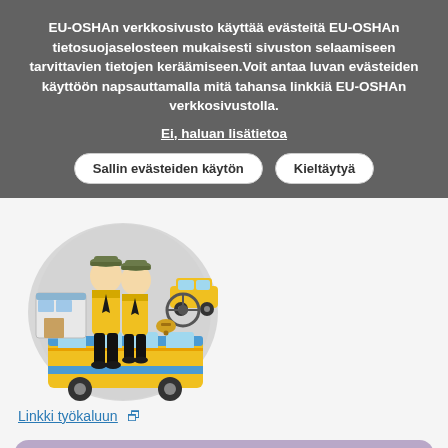EU-OSHAn verkkosivusto käyttää evästeitä EU-OSHAn tietosuojaselosteen mukaisesti sivuston selaamiseen tarvittavien tietojen keräämiseen.Voit antaa luvan evästeiden käyttöön napsauttamalla mitä tahansa linkkiä EU-OSHAn verkkosivustolla.
Ei, haluan lisätietoa
Sallin evästeiden käytön
Kieltäytyä
[Figure (illustration): Illustration of public transport workers (drivers) in yellow uniforms with a bus, taxi, steering wheel, bell, and shop in the background, inside a circular gray background.]
Linkki työkaluun 🔗
Public/passenger transport
France
French